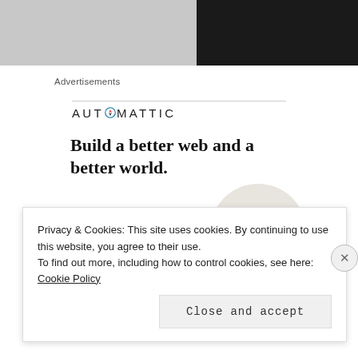[Figure (photo): Top banner image split: left half grey textured background, right half dark/black background]
Advertisements
[Figure (logo): Automattic logo with compass icon replacing the O]
Build a better web and a better world.
[Figure (photo): Apply button (blue, rounded) and circular portrait photo of a man with glasses and beard]
Privacy & Cookies: This site uses cookies. By continuing to use this website, you agree to their use.
To find out more, including how to control cookies, see here: Cookie Policy
Close and accept